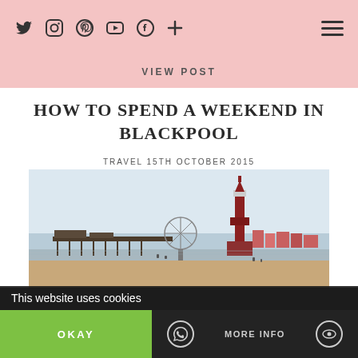Social media icons: Twitter, Instagram, Pinterest, YouTube, Facebook, Plus | Hamburger menu
VIEW POST
HOW TO SPEND A WEEKEND IN BLACKPOOL
TRAVEL 15TH OCTOBER 2015
[Figure (photo): Photograph of Blackpool beach and seafront showing Blackpool Tower, a pier, a Ferris wheel, and the shoreline under a pale blue sky]
This website uses cookies
OKAY
MORE INFO